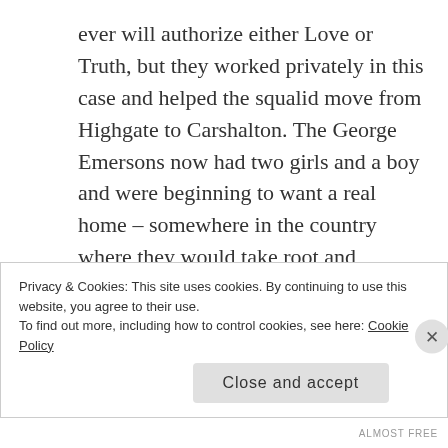ever will authorize either Love or Truth, but they worked privately in this case and helped the squalid move from Highgate to Carshalton. The George Emersons now had two girls and a boy and were beginning to want a real home – somewhere in the country where they would take root and unobtrusively found a dynasty. But civilization was not moving that way. The characters in my other novels were experiencing similar troubles. Howard's End is a hunt for a home. India is a Passage
Privacy & Cookies: This site uses cookies. By continuing to use this website, you agree to their use.
To find out more, including how to control cookies, see here: Cookie Policy
Close and accept
ALMOST FREE